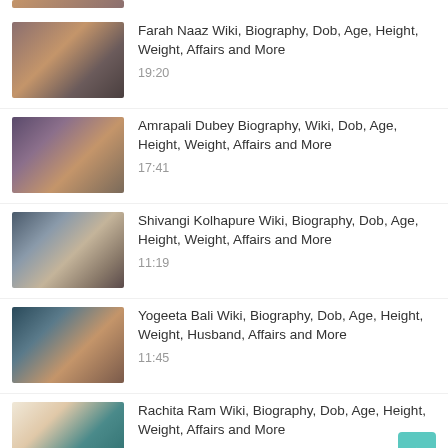[Figure (photo): Partial thumbnail of a person at top of page]
Farah Naaz Wiki, Biography, Dob, Age, Height, Weight, Affairs and More
19:20
Amrapali Dubey Biography, Wiki, Dob, Age, Height, Weight, Affairs and More
17:41
Shivangi Kolhapure Wiki, Biography, Dob, Age, Height, Weight, Affairs and More
11:19
Yogeeta Bali Wiki, Biography, Dob, Age, Height, Weight, Husband, Affairs and More
11:45
Rachita Ram Wiki, Biography, Dob, Age, Height, Weight, Affairs and More
23:54
[Figure (photo): Partial thumbnail at bottom of page]